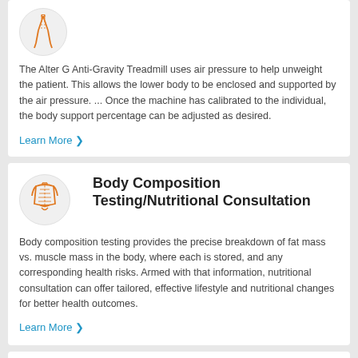[Figure (illustration): Orange line-art icon of a human figure (legs/body) inside a light gray circle]
The Alter G Anti-Gravity Treadmill uses air pressure to help unweight the patient. This allows the lower body to be enclosed and supported by the air pressure. ... Once the machine has calibrated to the individual, the body support percentage can be adjusted as desired.
Learn More >
[Figure (illustration): Orange line-art icon of a human torso/back (spine visible) inside a light gray circle]
Body Composition Testing/Nutritional Consultation
Body composition testing provides the precise breakdown of fat mass vs. muscle mass in the body, where each is stored, and any corresponding health risks. Armed with that information, nutritional consultation can offer tailored, effective lifestyle and nutritional changes for better health outcomes.
Learn More >